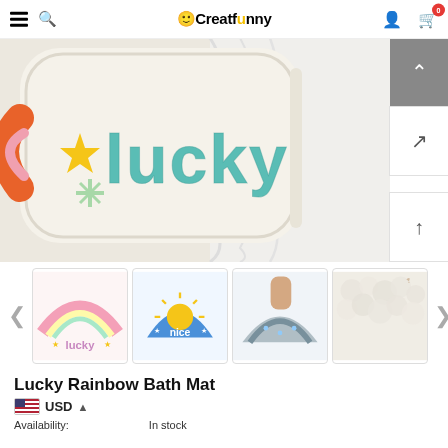Creatfunny — navigation bar with hamburger menu, search, logo, user icon, cart (0)
[Figure (photo): Close-up photo of a fluffy white bath mat with the word 'lucky' in teal tufted letters, a yellow star, and a green snowflake design, with an orange arc on the left edge. A white towel is visible to the right.]
[Figure (photo): Thumbnail 1: Pink rainbow bath mat with 'lucky' text in pastel colors]
[Figure (photo): Thumbnail 2: Blue semi-circle mat with sun design and 'nice' text]
[Figure (photo): Thumbnail 3: Grey/blue rainbow bath mat being held up]
[Figure (photo): Thumbnail 4: Close-up of fluffy white/cream textured mat surface]
Lucky Rainbow Bath Mat
USD ▲
Availability:   In stock